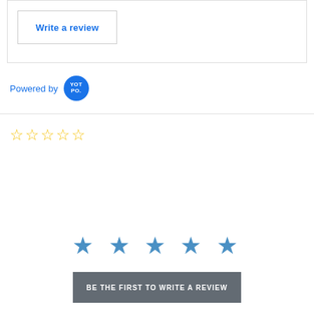Write a review
Powered by YOTPO.
[Figure (other): Five empty star rating icons in gold/yellow outline]
[Figure (other): Five filled blue star icons]
BE THE FIRST TO WRITE A REVIEW